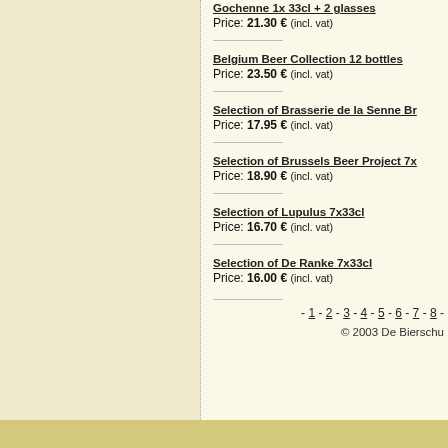Gochenne 1x 33cl + 2 glasses — Price: 21.30 € (incl. vat)
Belgium Beer Collection 12 bottles — Price: 23.50 € (incl. vat)
Selection of Brasserie de la Senne Br... — Price: 17.95 € (incl. vat)
Selection of Brussels Beer Project 7x... — Price: 18.90 € (incl. vat)
Selection of Lupulus 7x33cl — Price: 16.70 € (incl. vat)
Selection of De Ranke 7x33cl — Price: 16.00 € (incl. vat)
- 1 - 2 - 3 - 4 - 5 - 6 - 7 - 8 -
© 2003 De Bierschu